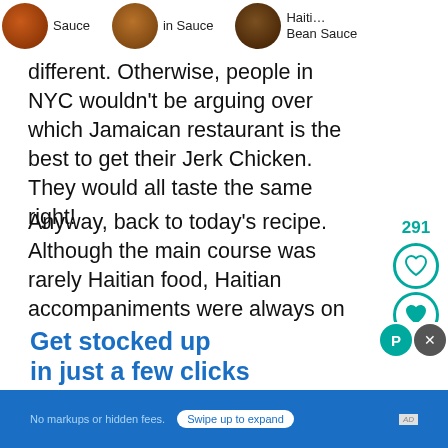[Figure (photo): Top strip showing three circular food images with labels: Sauce, in Sauce, Bean Sauce (partially visible)]
different. Otherwise, people in NYC wouldn't be arguing over which Jamaican restaurant is the best to get their Jerk Chicken. They would all taste the same right!
Anyway, back to today's recipe. Although the main course was rarely Haitian food, Haitian accompaniments were always on the table like B Salad, Avocado Salad (which I never ate...hated avocados then and I still do), Pikliz and Sos Ti Ma... Picklese & Sos Ti Malice are the two ways Haitian... have of adding spicy heat to their food. This is such a versati... oth
[Figure (infographic): Social sharing sidebar with count 291, heart outline icon, heart fill icon, and share button (pink circle with plus icon)]
[Figure (infographic): Advertisement overlay: 'Get stocked up in just a few clicks' with blue background, subtext 'No markups or hidden fees.' and 'Swipe up to expand' button]